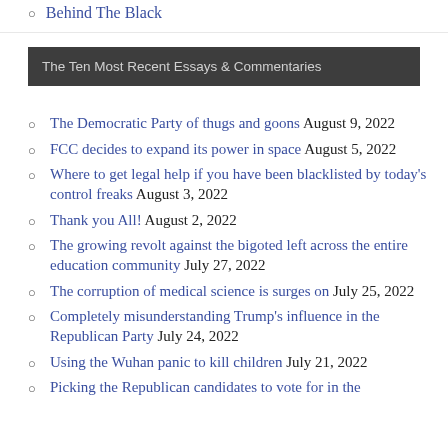Behind The Black
The Ten Most Recent Essays & Commentaries
The Democratic Party of thugs and goons August 9, 2022
FCC decides to expand its power in space August 5, 2022
Where to get legal help if you have been blacklisted by today's control freaks August 3, 2022
Thank you All! August 2, 2022
The growing revolt against the bigoted left across the entire education community July 27, 2022
The corruption of medical science is surges on July 25, 2022
Completely misunderstanding Trump's influence in the Republican Party July 24, 2022
Using the Wuhan panic to kill children July 21, 2022
Picking the Republican candidates to vote for in the